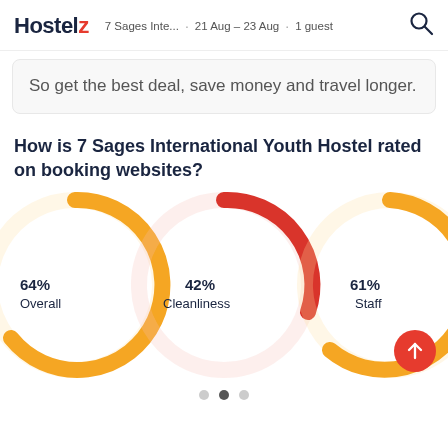Hostelz  7 Sages Inte...  21 Aug - 23 Aug  1 guest
So get the best deal, save money and travel longer.
How is 7 Sages International Youth Hostel rated on booking websites?
[Figure (donut-chart): Ratings on booking websites]